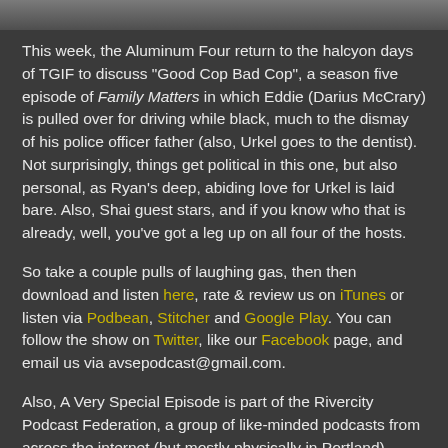[Figure (photo): Partial image strip at top of page, cropped photo]
This week, the Aluminum Four return to the halcyon days of TGIF to discuss "Good Cop Bad Cop", a season five episode of Family Matters in which Eddie (Darius McCrary) is pulled over for driving while black, much to the dismay of his police officer father (also, Urkel goes to the dentist). Not surprisingly, things get political in this one, but also personal, as Ryan's deep, abiding love for Urkel is laid bare. Also, Shai guest stars, and if you know who that is already, well, you've got a leg up on all four of the hosts.
So take a couple pulls of laughing gas, then then download and listen here, rate & review us on iTunes or listen via Podbean, Stitcher and Google Play. You can follow the show on Twitter, like our Facebook page, and email us via avsepodcast@gmail.com.
Also, A Very Special Episode is part of the Rivercity Podcast Federation, a group of like-minded podcasts from across the internet (but mostly physically in Portland). Check out the other great shows here.